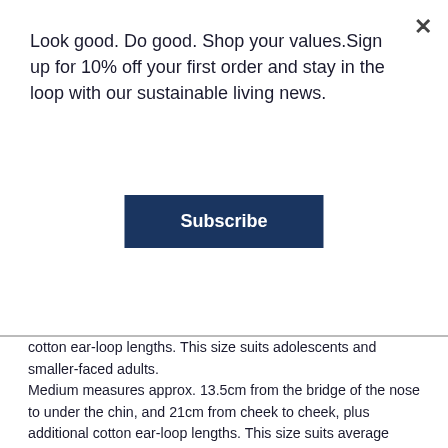Look good. Do good. Shop your values.Sign up for 10% off your first order and stay in the loop with our sustainable living news.
Subscribe
cotton ear-loop lengths. This size suits adolescents and smaller-faced adults.
Medium measures approx. 13.5cm from the bridge of the nose to under the chin, and 21cm from cheek to cheek, plus additional cotton ear-loop lengths. This size suits average adults and smaller-faced men.
Large measures approx. 14.5cm from the bridge of the nose to under the chin, and 22cm from cheek to cheek, plus additional cotton ear-loop lengths. This size suits larger-faced adults or men with beards.
Please read our COVID-19 shipping update here.